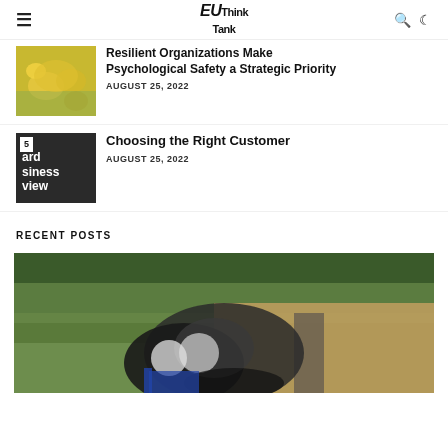EU Think Tank
Resilient Organizations Make Psychological Safety a Strategic Priority
AUGUST 25, 2022
Choosing the Right Customer
AUGUST 25, 2022
RECENT POSTS
[Figure (photo): Photo of a dog outdoors in a park-like setting with trees in the background]